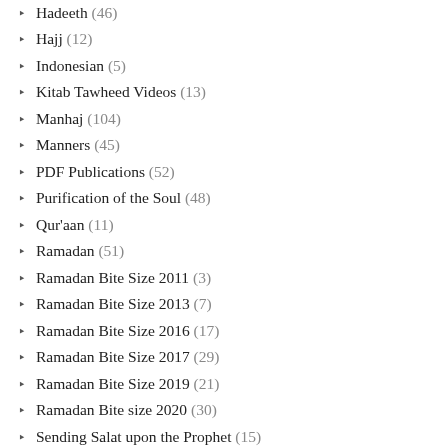Hadeeth (46)
Hajj (12)
Indonesian (5)
Kitab Tawheed Videos (13)
Manhaj (104)
Manners (45)
PDF Publications (52)
Purification of the Soul (48)
Qur'aan (11)
Ramadan (51)
Ramadan Bite Size 2011 (3)
Ramadan Bite Size 2013 (7)
Ramadan Bite Size 2016 (17)
Ramadan Bite Size 2017 (29)
Ramadan Bite Size 2019 (21)
Ramadan Bite size 2020 (30)
Sending Salat upon the Prophet (15)